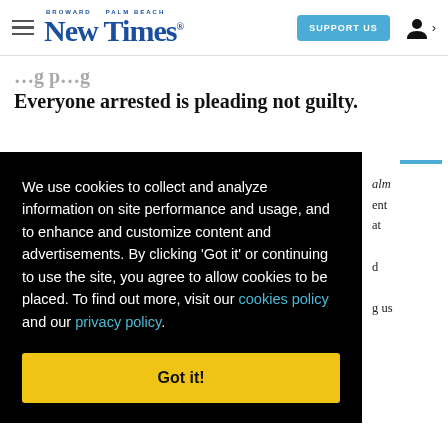Broward Palm Beach New Times — SUPPORT US
Everyone arrested is pleading not guilty.
We use cookies to collect and analyze information on site performance and usage, and to enhance and customize content and advertisements. By clicking 'Got it' or continuing to use the site, you agree to allow cookies to be placed. To find out more, visit our cookies policy and our privacy policy.
Got it!